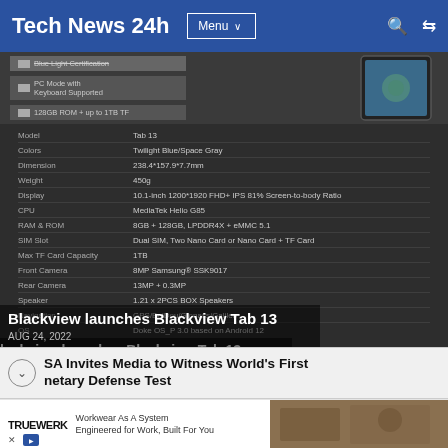Tech News 24h
[Figure (screenshot): Screenshot of a tech website showing a Blackview Tab 13 product page with feature pills (Blue Light Certification, PC Mode with Keyboard Supported, 128GB ROM + up to 1TB TF) and a tablet image, followed by a specification table with rows: Model=Tab 13, Colors=Twilight Blue/Space Gray, Dimension=238.4*157.9*7.7mm, Weight=450g, Display=10.1-inch 1200*1920 FHD+ IPS 81% Screen-to-body Ratio, CPU=MediaTek Helio G85, RAM & ROM=8GB + 128GB LPDDR4X + eMMC 5.1, SIM Slot=Dual SIM Two Nano Card or Nano Card + TF Card, Max TF Card Capacity=1TB, Front Camera=8MP Samsung® SSK9017, Rear Camera=13MP + 0.3MP, Speaker=1.21 x 2PCS BOX Speakers, Navigation=GPS/BeiDou/Glonass/Galileo, OS=Doke OS_P 3.0 based on Android 12]
Blackview launches Blackview Tab 13
AUG 24, 2022
SA Invites Media to Witness World's First netary Defense Test
Workwear As A System Engineered for Work, Built For You